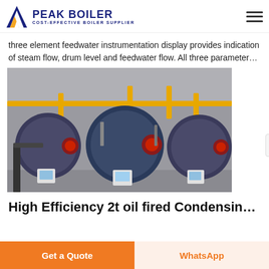PEAK BOILER - COST-EFFECTIVE BOILER SUPPLIER
three element feedwater instrumentation display provides indication of steam flow, drum level and feedwater flow. All three parameter…
[Figure (photo): Industrial boiler room with three large blue cylindrical gas-fired boilers arranged side by side, connected by yellow gas pipes overhead, each with a red burner and control panel in a factory/plant setting.]
High Efficiency 2t oil fired Condensin…
Get a Quote
WhatsApp